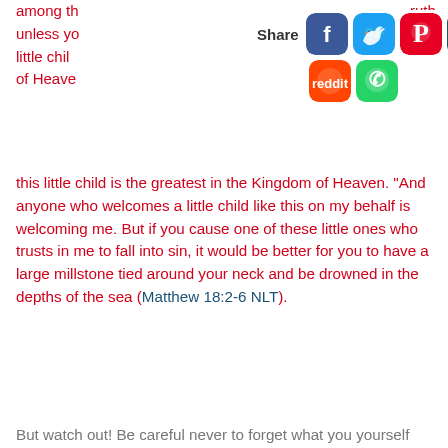among th... Truth, unless yo...e like little chil...Kingdom of Heave...mble as this little child is the greatest in the Kingdom of Heaven. “And anyone who welcomes a little child like this on my behalf is welcoming me. But if you cause one of these little ones who trusts in me to fall into sin, it would be better for you to have a large millstone tied around your neck and be drowned in the depths of the sea (Matthew 18:2-6 NLT).
[Figure (infographic): Social media share overlay with icons for Facebook, Twitter, Pinterest, Tumblr, Reddit, and WhatsApp, preceded by the label 'Share']
But watch out! Be careful never to forget what you yourself have seen. Do not let these memories escape from your mind as long as you live! And be sure to pass them on to your children and grandchildren. Never forget the day when you stood before the Lord your God at Mount Sinai, where he told me, ‘Summon the people before me